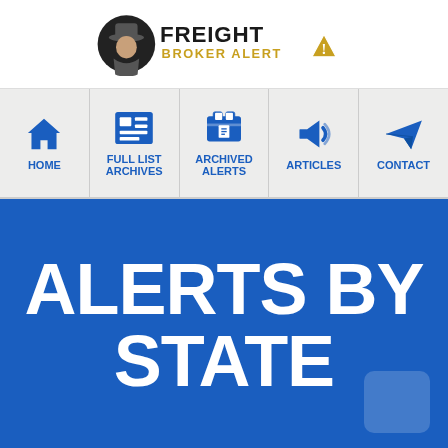FREIGHT BROKER ALERT
HOME
FULL LIST ARCHIVES
ARCHIVED ALERTS
ARTICLES
CONTACT
ALERTS BY STATE